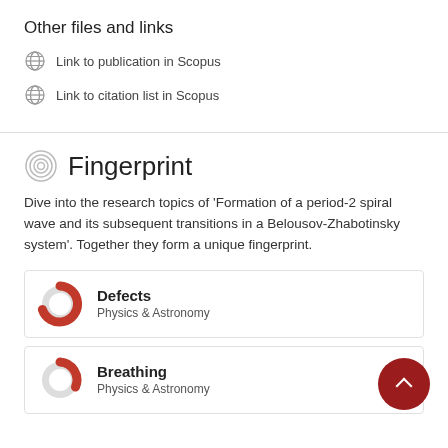Other files and links
Link to publication in Scopus
Link to citation list in Scopus
Fingerprint
Dive into the research topics of 'Formation of a period-2 spiral wave and its subsequent transitions in a Belousov-Zhabotinsky system'. Together they form a unique fingerprint.
Defects
Physics & Astronomy
Breathing
Physics & Astronomy